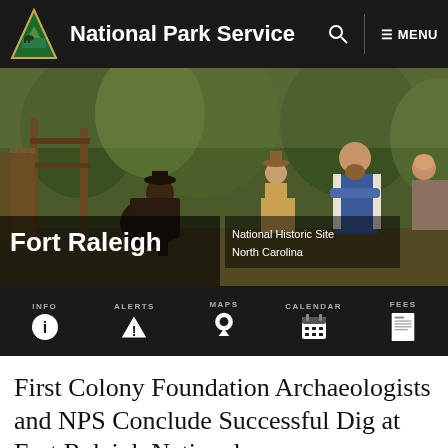National Park Service | MENU
[Figure (illustration): Fort Raleigh National Historic Site illustration showing colonial-era figures in period dress, including men working and conversing in a wooded settlement setting. Text overlay reads 'Fort Raleigh' and 'National Historic Site North Carolina'.]
INFO | ALERTS | MAPS | CALENDAR | FEES
First Colony Foundation Archaeologists and NPS Conclude Successful Dig at Fort Raleigh National